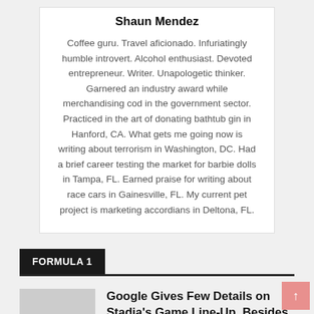Shaun Mendez
Coffee guru. Travel aficionado. Infuriatingly humble introvert. Alcohol enthusiast. Devoted entrepreneur. Writer. Unapologetic thinker. Garnered an industry award while merchandising cod in the government sector. Practiced in the art of donating bathtub gin in Hanford, CA. What gets me going now is writing about terrorism in Washington, DC. Had a brief career testing the market for barbie dolls in Tampa, FL. Earned praise for writing about race cars in Gainesville, FL. My current pet project is marketing accordians in Deltona, FL.
FORMULA 1
Google Gives Few Details on Stadia's Game Line-Up, Besides Assassin's Creed